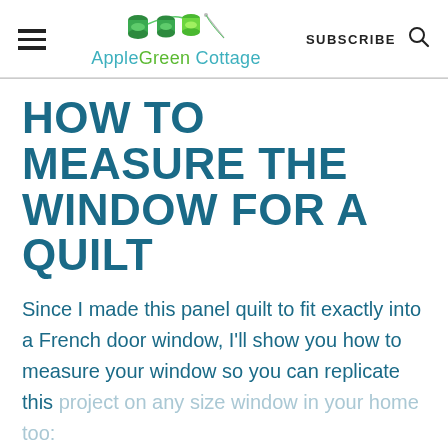AppleGreen Cottage — SUBSCRIBE
HOW TO MEASURE THE WINDOW FOR A QUILT
Since I made this panel quilt to fit exactly into a French door window, I'll show you how to measure your window so you can replicate this project on any size window in your home too: